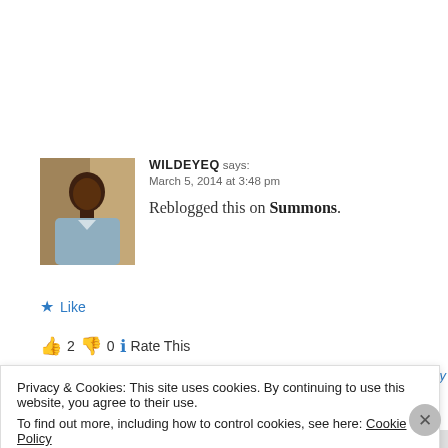WILDEYEQ says: March 5, 2014 at 3:48 pm
Reblogged this on Summons.
★ Like
👍 2 👎 0 ℹ Rate This
Privacy & Cookies: This site uses cookies. By continuing to use this website, you agree to their use.
To find out more, including how to control cookies, see here: Cookie Policy
Close and accept
Advertisements
[Figure (screenshot): Advertisement banner: Opinions. We all have them! with WordPress logo]
WORDPRESS.COM